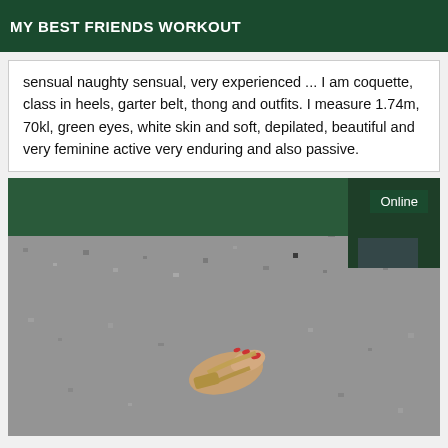MY BEST FRIENDS WORKOUT
sensual naughty sensual, very experienced ... I am coquette, class in heels, garter belt, thong and outfits. I measure 1.74m, 70kl, green eyes, white skin and soft, depilated, beautiful and very feminine active very enduring and also passive.
[Figure (photo): Photo showing a foot in a sandal/heel on a grey textured floor, with dark green wall/furniture in background. An 'Online' badge appears in the top right corner.]